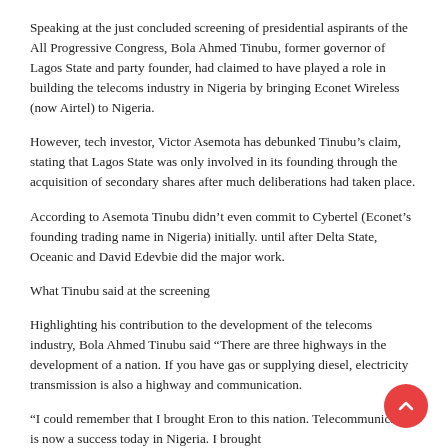Speaking at the just concluded screening of presidential aspirants of the All Progressive Congress, Bola Ahmed Tinubu, former governor of Lagos State and party founder, had claimed to have played a role in building the telecoms industry in Nigeria by bringing Econet Wireless (now Airtel) to Nigeria.
However, tech investor, Victor Asemota has debunked Tinubu’s claim, stating that Lagos State was only involved in its founding through the acquisition of secondary shares after much deliberations had taken place.
According to Asemota Tinubu didn’t even commit to Cybertel (Econet’s founding trading name in Nigeria) initially. until after Delta State, Oceanic and David Edevbie did the major work.
What Tinubu said at the screening
Highlighting his contribution to the development of the telecoms industry, Bola Ahmed Tinubu said “There are three highways in the development of a nation. If you have gas or supplying diesel, electricity transmission is also a highway and communication.
“I could remember that I brought Eron to this nation. Telecommunication is now a success today in Nigeria. I brought